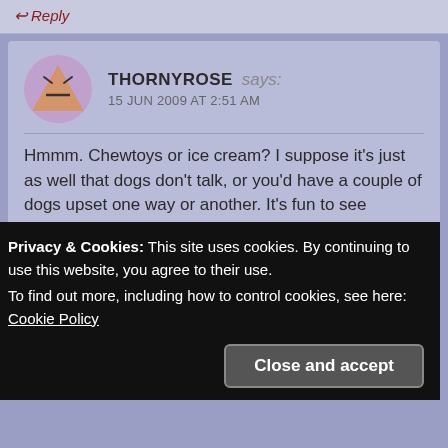↩ Reply
THORNYROSE says:
15 JUN 2009 AT 2:51 AM
Hmmm. Chewtoys or ice cream? I suppose it's just as well that dogs don't talk, or you'd have a couple of dogs upset one way or another. It's fun to see pictures of you taking the dogs out. Have you had an occasion where you've attempted to take all of them at once?
Great news on the comic series. Ready to send in my subscription as soon as you indicate the comic is in print. As for the last episodes, are the TBDs more prevelant
Privacy & Cookies: This site uses cookies. By continuing to use this website, you agree to their use.
To find out more, including how to control cookies, see here: Cookie Policy
Close and accept